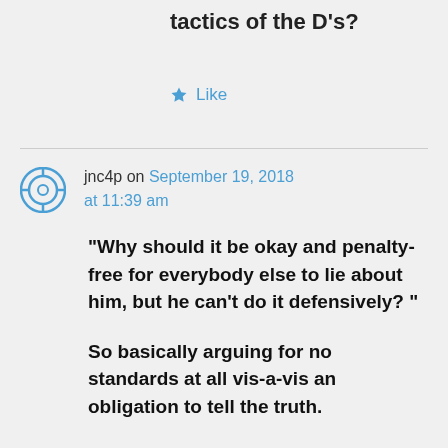tactics of the D's?
Like
jnc4p on September 19, 2018 at 11:39 am
“Why should it be okay and penalty-free for everybody else to lie about him, but he can’t do it defensively? ”
So basically arguing for no standards at all vis-a-vis an obligation to tell the truth.
My preference would be to